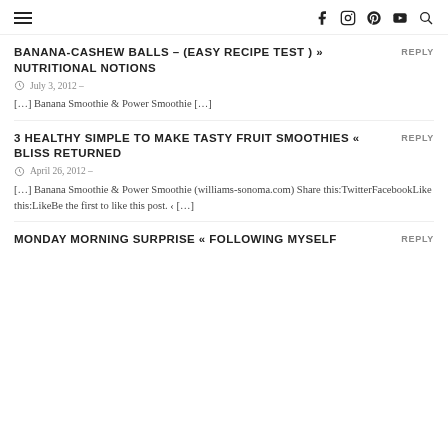Navigation header with hamburger menu and social icons: f (Facebook), Instagram, Pinterest, YouTube, Search
BANANA-CASHEW BALLS – (EASY RECIPE TEST ) » NUTRITIONAL NOTIONS
July 3, 2012 –
[…] Banana Smoothie & Power Smoothie […]
3 HEALTHY SIMPLE TO MAKE TASTY FRUIT SMOOTHIES « BLISS RETURNED
April 26, 2012 –
[…] Banana Smoothie & Power Smoothie (williams-sonoma.com) Share this:TwitterFacebookLike this:LikeBe the first to like this post. ‹ […]
MONDAY MORNING SURPRISE « FOLLOWING MYSELF